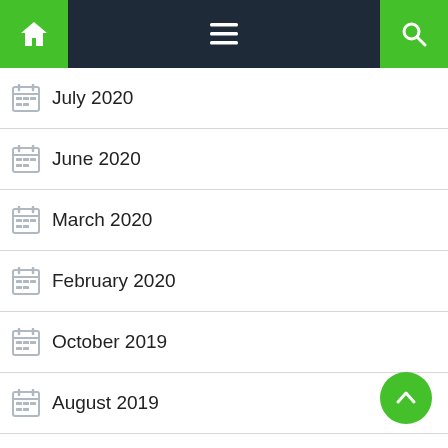Navigation bar with home, menu, and search icons
July 2020
June 2020
March 2020
February 2020
October 2019
August 2019
July 2019
June 2019
May 2019
April 2019